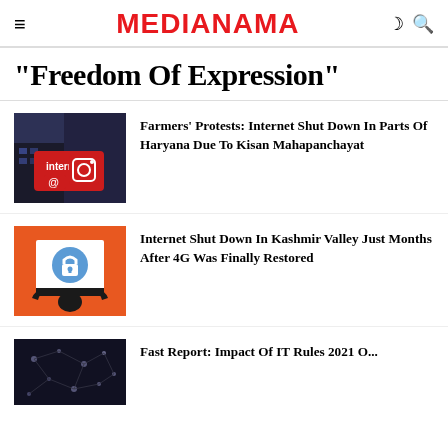MEDIANAMA
"Freedom Of Expression"
[Figure (photo): Photo of a building with an 'internet' sign and social media icons on red background]
Farmers' Protests: Internet Shut Down In Parts Of Haryana Due To Kisan Mahapanchayat
[Figure (illustration): Orange background illustration of a person holding a sign with a lock icon representing internet shutdown]
Internet Shut Down In Kashmir Valley Just Months After 4G Was Finally Restored
[Figure (photo): Dark photo of network connections/nodes]
Fast Report: Impact Of IT Rules 2021 O...